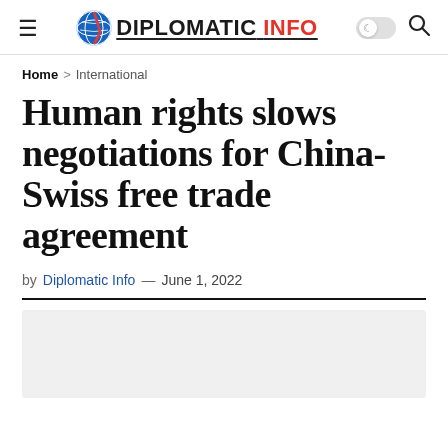DIPLOMATIC INFO
Home > International
Human rights slows negotiations for China-Swiss free trade agreement
by Diplomatic Info — June 1, 2022
[Figure (photo): Article image placeholder — light gray background]